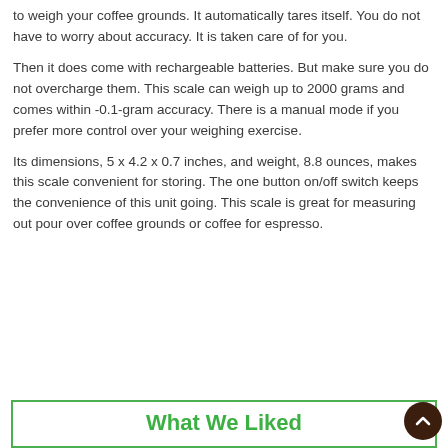to weigh your coffee grounds. It automatically tares itself. You do not have to worry about accuracy. It is taken care of for you.
Then it does come with rechargeable batteries. But make sure you do not overcharge them. This scale can weigh up to 2000 grams and comes within -0.1-gram accuracy. There is a manual mode if you prefer more control over your weighing exercise.
Its dimensions, 5 x 4.2 x 0.7 inches, and weight, 8.8 ounces, makes this scale convenient for storing. The one button on/off switch keeps the convenience of this unit going. This scale is great for measuring out pour over coffee grounds or coffee for espresso.
What We Liked